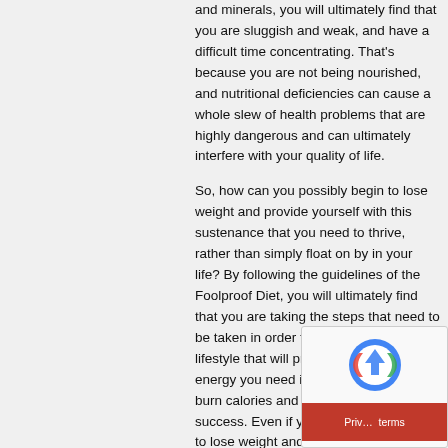and minerals, you will ultimately find that you are sluggish and weak, and have a difficult time concentrating. That's because you are not being nourished, and nutritional deficiencies can cause a whole slew of health problems that are highly dangerous and can ultimately interfere with your quality of life.
So, how can you possibly begin to lose weight and provide yourself with this sustenance that you need to thrive, rather than simply float on by in your life? By following the guidelines of the Foolproof Diet, you will ultimately find that you are taking the steps that need to be taken in order to develop a healthy lifestyle that will provide you with the energy you need in order to continue to burn calories and make weight-loss a success. Even if you aren't simply trying to lose weight and just want to create a better lifestyle for yourself, the Foolproof Diet will give you all the information that you need in order to
[Figure (other): reCAPTCHA widget with logo and Privacy/Terms footer on red background]